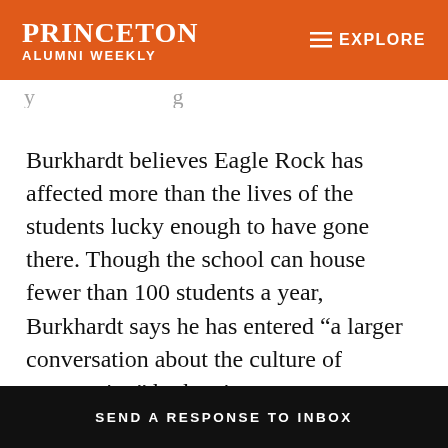PRINCETON ALUMNI WEEKLY  ≡ EXPLORE
Burkhardt believes Eagle Rock has affected more than the lives of the students lucky enough to have gone there. Though the school can house fewer than 100 students a year, Burkhardt says he has entered “a larger conversation about the culture of expectation” by hosting as many as 1,500
SEND A RESPONSE TO INBOX